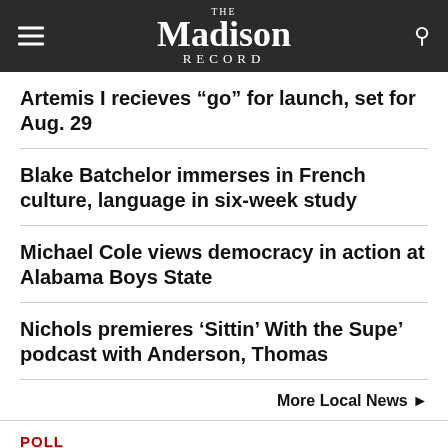The Madison Record
Artemis I recieves “go” for launch, set for Aug. 29
Blake Batchelor immerses in French culture, language in six-week study
Michael Cole views democracy in action at Alabama Boys State
Nichols premieres ‘Sittin’ With the Supe’ podcast with Anderson, Thomas
More Local News ►
POLL
Sorry, there are no polls available at the moment.